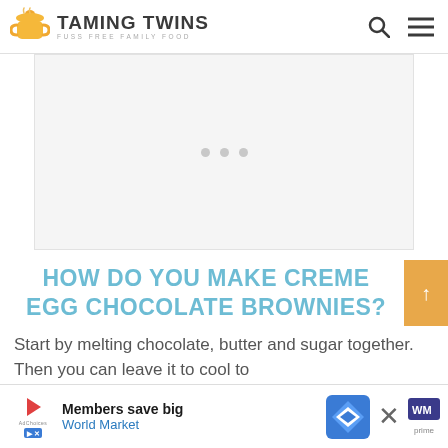TAMING TWINS — FUSS FREE FAMILY FOOD
[Figure (other): Advertisement placeholder area with three gray dots centered]
HOW DO YOU MAKE CREME EGG CHOCOLATE BROWNIES?
Start by melting chocolate, butter and sugar together. Then you can leave it to cool to room temperature before adding your beaten eggs.
[Figure (other): Bottom advertisement banner: Members save big — World Market, with blue navigation arrow logo and close X button]